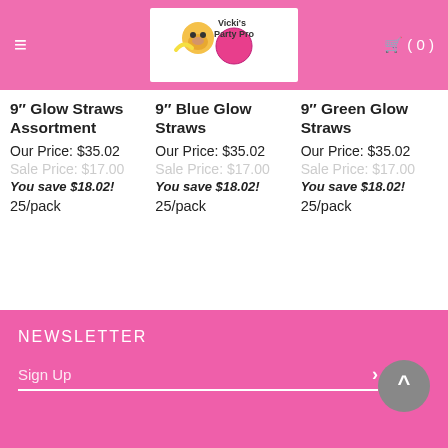Vicki's Party Pro
9" Glow Straws Assortment
Our Price: $35.02
Sale Price: $17.00
You save $18.02!
25/pack
9" Blue Glow Straws
Our Price: $35.02
Sale Price: $17.00
You save $18.02!
25/pack
9" Green Glow Straws
Our Price: $35.02
Sale Price: $17.00
You save $18.02!
25/pack
Next
NEWSLETTER
Sign Up